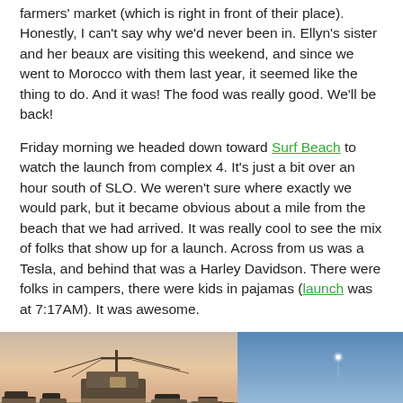farmers' market (which is right in front of their place). Honestly, I can't say why we'd never been in. Ellyn's sister and her beaux are visiting this weekend, and since we went to Morocco with them last year, it seemed like the thing to do. And it was! The food was really good. We'll be back!
Friday morning we headed down toward Surf Beach to watch the launch from complex 4. It's just a bit over an hour south of SLO. We weren't sure where exactly we would park, but it became obvious about a mile from the beach that we had arrived. It was really cool to see the mix of folks that show up for a launch. Across from us was a Tesla, and behind that was a Harley Davidson. There were folks in campers, there were kids in pajamas (launch was at 7:17AM). It was awesome.
[Figure (photo): Photo of a parking area at dawn with cars and a utility pole silhouetted against a pink/orange sky, with a camper or large vehicle in the foreground]
[Figure (photo): Photo of a blue sky with a small bright white dot (rocket or launch trail) visible, with a dark hillside at the bottom]